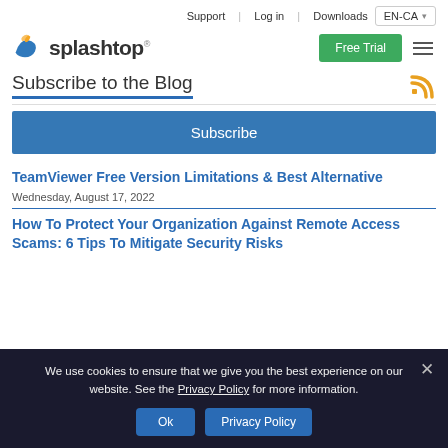Support | Log in | Downloads | EN-CA
[Figure (logo): Splashtop logo with orange/blue icon and bold text]
Subscribe to the Blog
Subscribe
TeamViewer Free Version Limitations & Best Alternative
Wednesday, August 17, 2022
How To Protect Your Organization Against Remote Access Scams: 6 Tips To Mitigate Security Risks
We use cookies to ensure that we give you the best experience on our website. See the Privacy Policy for more information.